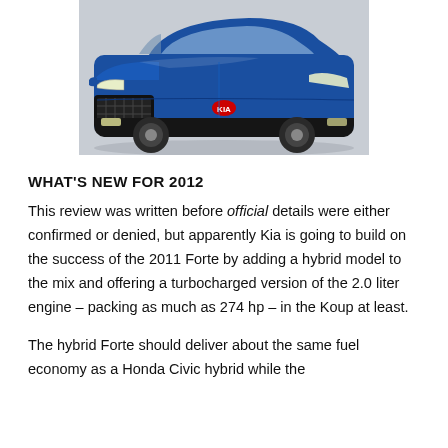[Figure (photo): Blue Kia Forte Koup photographed from a front three-quarter angle on a grey background]
WHAT'S NEW FOR 2012
This review was written before official details were either confirmed or denied, but apparently Kia is going to build on the success of the 2011 Forte by adding a hybrid model to the mix and offering a turbocharged version of the 2.0 liter engine – packing as much as 274 hp – in the Koup at least.
The hybrid Forte should deliver about the same fuel economy as a Honda Civic hybrid while the